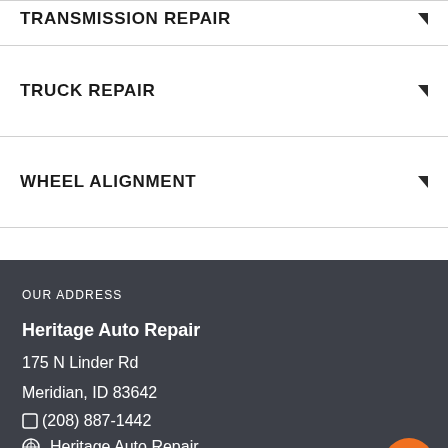TRANSMISSION REPAIR
TRUCK REPAIR
WHEEL ALIGNMENT
OUR ADDRESS
Heritage Auto Repair
175 N Linder Rd
Meridian, ID 83642
(208) 887-1442
Heritage Auto Repair